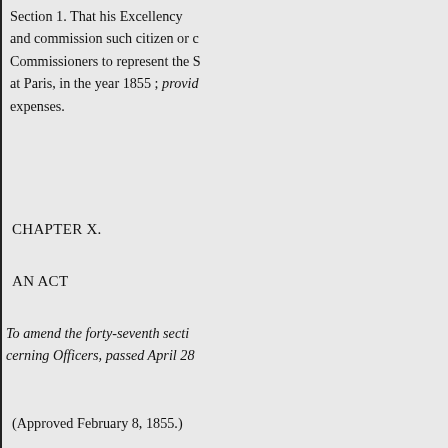Section 1. That his Excellency and commission such citizen or c Commissioners to represent the S at Paris, in the year 1855 ; provid expenses.
CHAPTER X.
AN ACT
To amend the forty-seventh secti cerning Officers, passed April 28
(Approved February 8, 1855.)
The People of the State of Califo Assembly, do enact as follows
Amended.
Sec. 47.